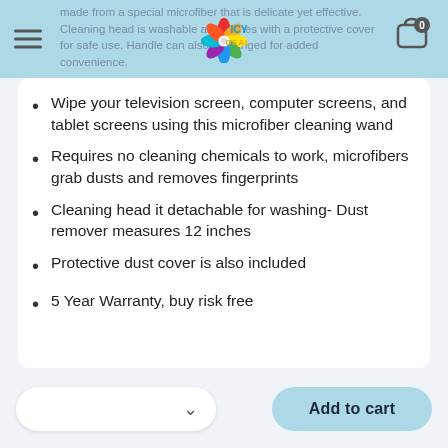ICY DEALS header with menu and cart
made from a special microfiber that is delicate yet effective. Cleaning head is washable and comes with a protective cover for safe use. Handle can also be hanged for added convenience.
Wipe your television screen, computer screens, and tablet screens using this microfiber cleaning wand
Requires no cleaning chemicals to work, microfibers grab dusts and removes fingerprints
Cleaning head it detachable for washing- Dust remover measures 12 inches
Protective dust cover is also included
5 Year Warranty, buy risk free